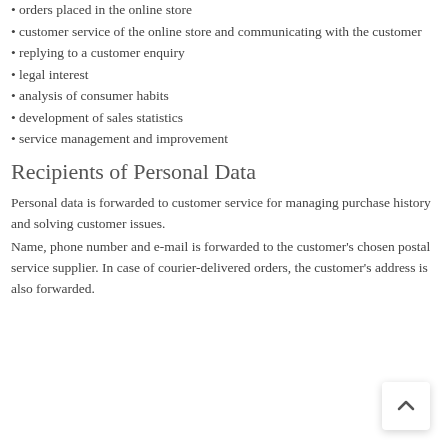• orders placed in the online store
• customer service of the online store and communicating with the customer
• replying to a customer enquiry
• legal interest
• analysis of consumer habits
• development of sales statistics
• service management and improvement
Recipients of Personal Data
Personal data is forwarded to customer service for managing purchase history and solving customer issues.
Name, phone number and e-mail is forwarded to the customer's chosen postal service supplier. In case of courier-delivered orders, the customer's address is also forwarded.